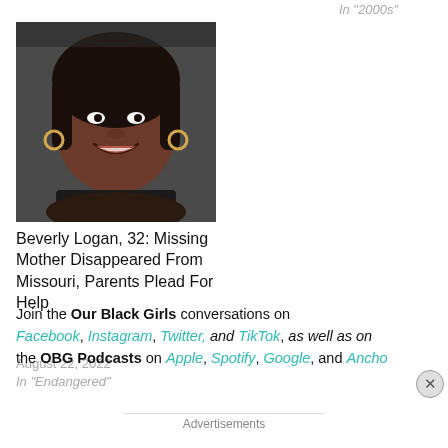In "2000s"
[Figure (photo): Photo of Beverly Logan, a smiling Black woman with dark hair, wearing a dark top and hoop earrings, photographed from shoulder up.]
Beverly Logan, 32: Missing Mother Disappeared From Missouri, Parents Plead For Help
August 22, 2022
In "Endangered"
Join the Our Black Girls conversations on Facebook, Instagram, Twitter, and TikTok, as well as on the OBG Podcasts on Apple, Spotify, Google, and Anchor
Advertisements